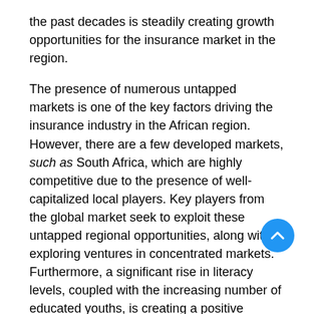the past decades is steadily creating growth opportunities for the insurance market in the region.
The presence of numerous untapped markets is one of the key factors driving the insurance industry in the African region. However, there are a few developed markets, such as South Africa, which are highly competitive due to the presence of well-capitalized local players. Key players from the global market seek to exploit these untapped regional opportunities, along with exploring ventures in concentrated markets. Furthermore, a significant rise in literacy levels, coupled with the increasing number of educated youths, is creating a positive outlook for the market. An overall improved educational scenario is expected to create significant awareness regarding the associated benefits of insurance, thus creating lucrative opportunities for the market players. Rapid urbanization, emerging middle class, and growing working population, along with improving internet connection and technological advancements, are some of the other factors catalyzing the growth of the insurance sector in the African region.